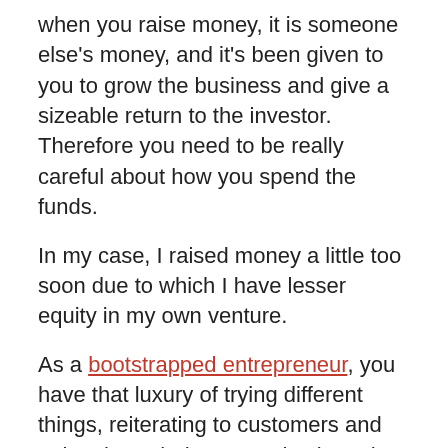when you raise money, it is someone else's money, and it's been given to you to grow the business and give a sizeable return to the investor. Therefore you need to be really careful about how you spend the funds.
In my case, I raised money a little too soon due to which I have lesser equity in my own venture.
As a bootstrapped entrepreneur, you have that luxury of trying different things, reiterating to customers and going through that recursive loop that actually helps you shape the business model better. All of that goes away once you raise that first round.